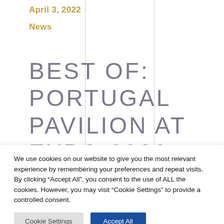April 3, 2022
News
BEST OF: PORTUGAL PAVILION AT EXPO 2020
We use cookies on our website to give you the most relevant experience by remembering your preferences and repeat visits. By clicking “Accept All”, you consent to the use of ALL the cookies. However, you may visit "Cookie Settings" to provide a controlled consent.